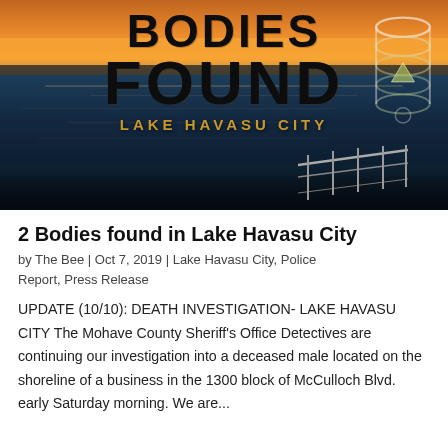[Figure (photo): News article hero image showing a lake at sunset/dusk with text overlay reading 'BODIES FOUND – LAKE HAVASU CITY' and a DNA double-helix icon on the right side. A railing is visible in the lower right foreground.]
2 Bodies found in Lake Havasu City
by The Bee | Oct 7, 2019 | Lake Havasu City, Police Report, Press Release
UPDATE (10/10): DEATH INVESTIGATION- LAKE HAVASU CITY The Mohave County Sheriff's Office Detectives are continuing our investigation into a deceased male located on the shoreline of a business in the 1300 block of McCulloch Blvd. early Saturday morning. We are...